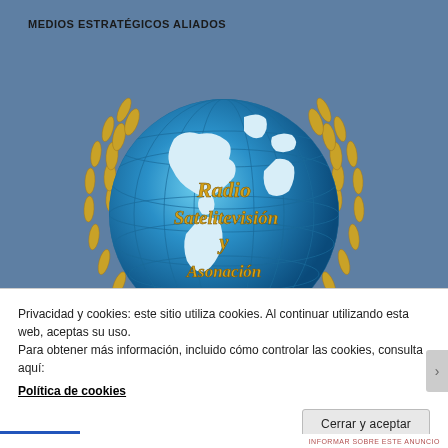MEDIOS ESTRATÉGICOS ALIADOS
[Figure (logo): Globe with blue and white continents surrounded by golden laurel wreath, with text 'Radio Satelitevisión y' overlaid in gold italic font on the globe]
Privacidad y cookies: este sitio utiliza cookies. Al continuar utilizando esta web, aceptas su uso.
Para obtener más información, incluido cómo controlar las cookies, consulta aquí:
Política de cookies
Cerrar y aceptar